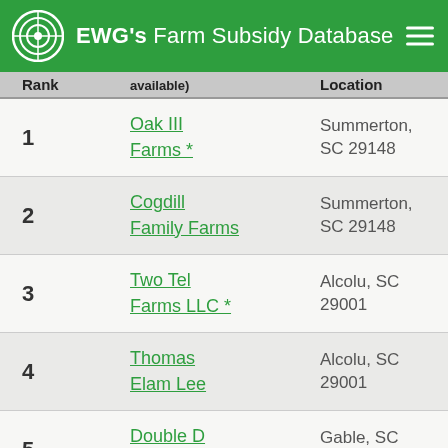EWG's Farm Subsidy Database
| Rank | available) | Location |  |
| --- | --- | --- | --- |
| 1 | Oak III Farms * | Summerton, SC 29148 |  |
| 2 | Cogdill Family Farms | Summerton, SC 29148 |  |
| 3 | Two Tel Farms LLC * | Alcolu, SC 29001 |  |
| 4 | Thomas Elam Lee | Alcolu, SC 29001 |  |
| 5 | Double D Farms * | Gable, SC 29051 |  |
| 6 | Lester G... | Manning, SC |  |